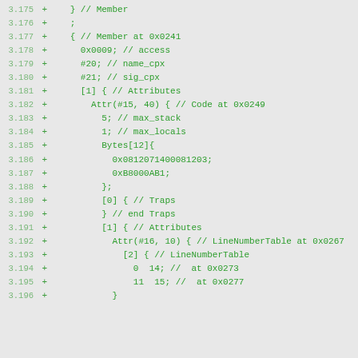Code diff/assembly listing showing class file disassembly lines 3.175-3.196